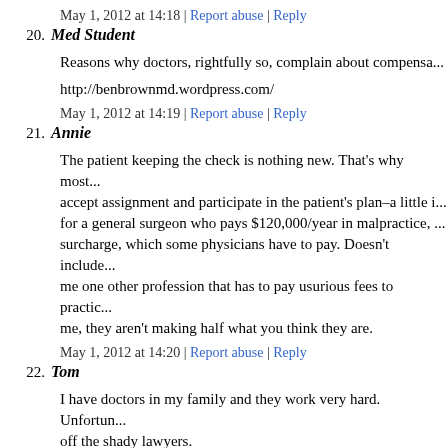May 1, 2012 at 14:18 | Report abuse | Reply
20. Med Student
Reasons why doctors, rightfully so, complain about compensa...
http://benbrownmd.wordpress.com/
May 1, 2012 at 14:19 | Report abuse | Reply
21. Annie
The patient keeping the check is nothing new. That's why most... accept assignment and participate in the patient's plan–a little i... for a general surgeon who pays $120,000/year in malpractice, ... surcharge, which some physicians have to pay. Doesn't include... me one other profession that has to pay usurious fees to practic... me, they aren't making half what you think they are.
May 1, 2012 at 14:20 | Report abuse | Reply
22. Tom
I have doctors in my family and they work very hard. Unfortun... off the shady lawyers.
May 1, 2012 at 14:20 | Report abuse | Reply
Dw